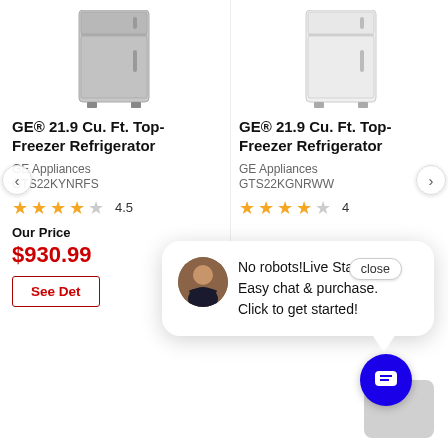[Figure (screenshot): Screenshot of a product listing page showing two GE refrigerators side by side with a live chat popup overlay.]
GE® 21.9 Cu. Ft. Top-Freezer Refrigerator
GE Appliances
GTS22KYNRFS
4.5 stars rating
Our Price
$930.99
See Det...
GE® 21.9 Cu. Ft. Top-Freezer Refrigerator
GE Appliances
GTS22KGNRWW
4 stars rating
close
No robots!Live Staff.
Easy chat & purchase.
Click to get started!